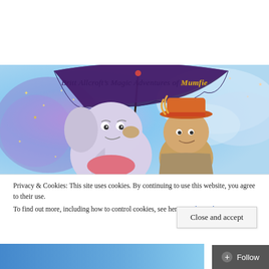[Figure (illustration): Britt Allcroft's Magic Adventures of Mumfie banner image showing animated elephant character Mumfie and a boy character holding a large umbrella, flying against a blue sky with sparkles and stars. Title text reads 'Britt Allcroft's Magic Adventures of Mumfie' with 'Mumfie' in bold yellow italic font.]
Privacy & Cookies: This site uses cookies. By continuing to use this website, you agree to their use.
To find out more, including how to control cookies, see here: Cookie Policy
Close and accept
Follow